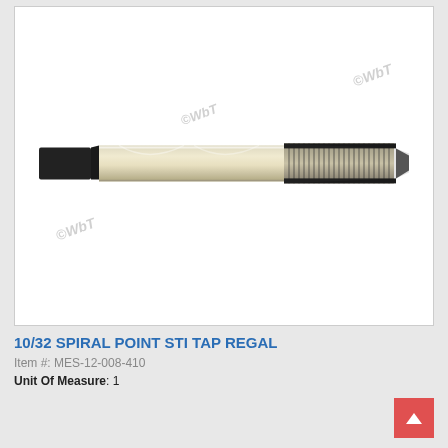[Figure (photo): Product photo of a 10/32 Spiral Point STI Tap Regal tool. The tap is a metallic silver/gold colored threading tool with a black square shank on the left end and spiral-threaded cutting end on the right. Three 'ⒸWbT' watermarks are overlaid on the image at various angles.]
10/32 SPIRAL POINT STI TAP REGAL
Item #: MES-12-008-410
Unit Of Measure: 1